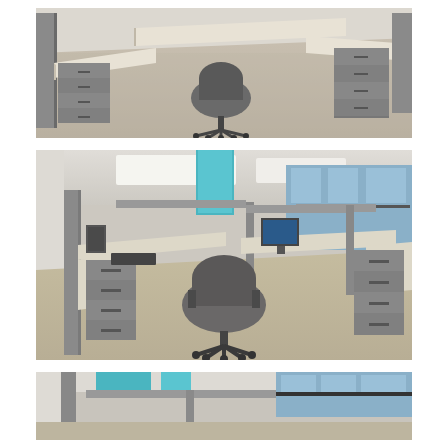[Figure (photo): Office cubicle workstation viewed from above, showing an L-shaped desk with gray filing pedestals on each side and a gray office chair in the center, beige carpet floor, white walls.]
[Figure (photo): Open office space with multiple cubicle workstations, gray fabric partition panels, L-shaped desks with light wood surfaces, gray filing pedestals, a gray office chair in foreground, computer equipment visible, large windows in background, ceiling with fluorescent lighting panels, and a teal/blue accent panel visible.]
[Figure (photo): Partial view of office cubicle space showing gray cubicle partition panels and windows in the background, cropped at the bottom of the page.]